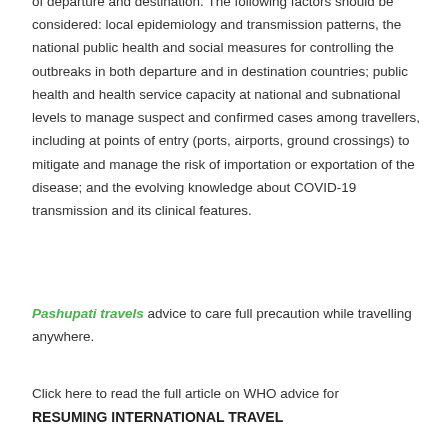of departure and destination. The following factors should be considered: local epidemiology and transmission patterns, the national public health and social measures for controlling the outbreaks in both departure and in destination countries; public health and health service capacity at national and subnational levels to manage suspect and confirmed cases among travellers, including at points of entry (ports, airports, ground crossings) to mitigate and manage the risk of importation or exportation of the disease; and the evolving knowledge about COVID-19 transmission and its clinical features.
Pashupati travels advice to care full precaution while travelling anywhere.
Click here to read the full article on WHO advice for RESUMING INTERNATIONAL TRAVEL